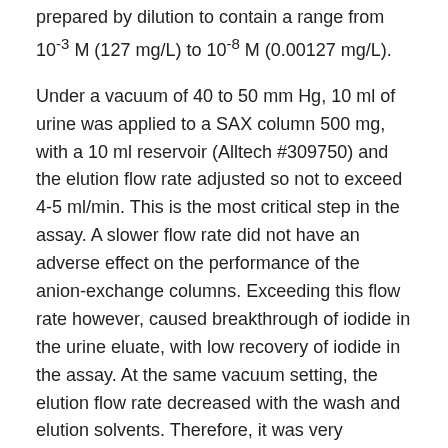prepared by dilution to contain a range from 10⁻³ M (127 mg/L) to 10⁻⁸ M (0.00127 mg/L).
Under a vacuum of 40 to 50 mm Hg, 10 ml of urine was applied to a SAX column 500 mg, with a 10 ml reservoir (Alltech #309750) and the elution flow rate adjusted so not to exceed 4-5 ml/min. This is the most critical step in the assay. A slower flow rate did not have an adverse effect on the performance of the anion-exchange columns. Exceeding this flow rate however, caused breakthrough of iodide in the urine eluate, with low recovery of iodide in the assay. At the same vacuum setting, the elution flow rate decreased with the wash and elution solvents. Therefore, it was very important to set the flow rate during the elution of the urine sample. Since there was variation in flow rate between the columns, the SAX columns with the